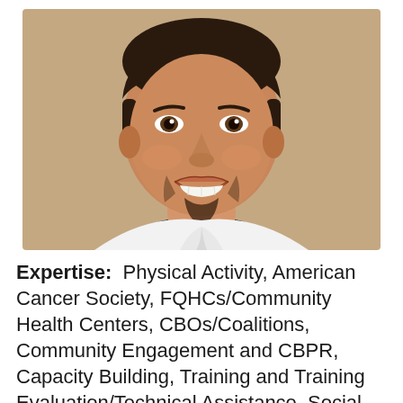[Figure (photo): Professional headshot of a smiling young man with short dark hair and a goatee, wearing a white collared shirt, against a warm beige/tan background.]
Expertise:  Physical Activity, American Cancer Society, FQHCs/Community Health Centers, CBOs/Coalitions, Community Engagement and CBPR, Capacity Building, Training and Training Evaluation/Technical Assistance, Social Determinants of Health, Cancer